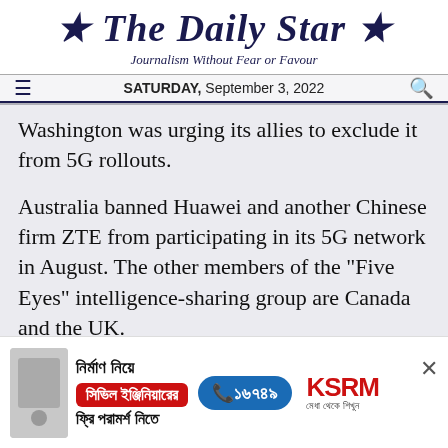The Daily Star
Journalism Without Fear or Favour
SATURDAY, September 3, 2022
Washington was urging its allies to exclude it from 5G rollouts.
Australia banned Huawei and another Chinese firm ZTE from participating in its 5G network in August. The other members of the "Five Eyes" intelligence-sharing group are Canada and the UK.
[Figure (other): Advertisement banner for KSRM civil engineering consultation service in Bengali with phone number 16749]